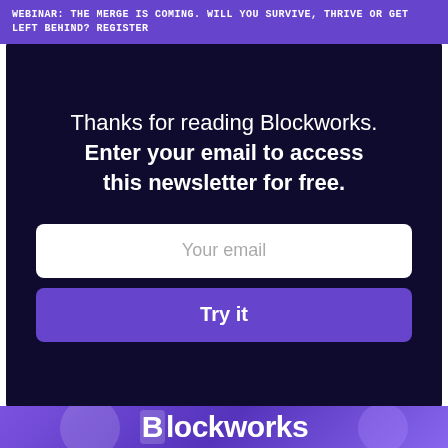WEBINAR: THE MERGE IS COMING. WILL YOU SURVIVE, THRIVE OR GET LEFT BEHIND? REGISTER
Thanks for reading Blockworks. Enter your email to access this newsletter for free.
Your email
Try it
[Figure (logo): Blockworks logo on purple gradient background strip at bottom of page]